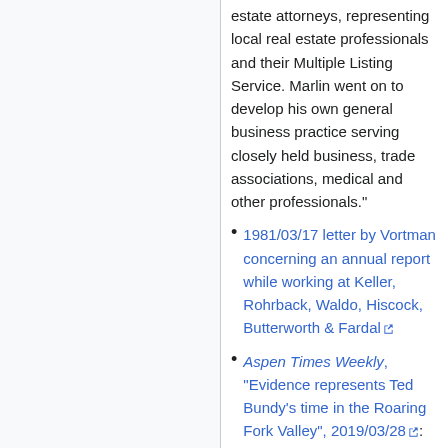estate attorneys, representing local real estate professionals and their Multiple Listing Service. Marlin went on to develop his own general business practice serving closely held business, trade associations, medical and other professionals."
1981/03/17 letter by Vortman concerning an annual report while working at Keller, Rohrback, Waldo, Hiscock, Butterworth & Fardal [external link]
Aspen Times Weekly, "Evidence represents Ted Bundy's time in the Roaring Fork Valley", 2019/03/28 [external link]: "Among the items in storage at the DA's Office in Glenwood Springs [...] in the